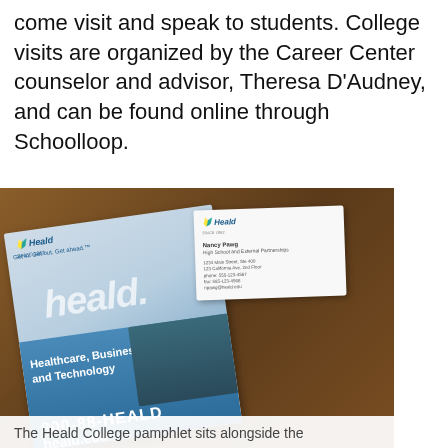come visit and speak to students. College visits are organized by the Career Center counselor and advisor, Theresa D'Audney, and can be found online through Schoolloop.
[Figure (photo): A Heald College pamphlet displaying 'Healthcare, Business, and Technology' text and phone number 800-88-HEALD sits on a wooden desk alongside a Heald College business card.]
The Heald College pamphlet sits alongside the